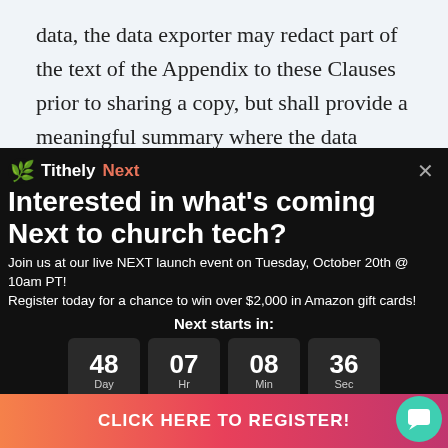data, the data exporter may redact part of the text of the Appendix to these Clauses prior to sharing a copy, but shall provide a meaningful summary where the data subject would
[Figure (screenshot): Tithely Next promotional modal popup on dark background. Contains logo with green leaf icon and 'TithelyNext' branding, headline 'Interested in what's coming Next to church tech?', event details text, countdown timer showing 48 Days 07 Hr 08 Min 36 Sec, and a 'CLICK HERE TO REGISTER!' button with orange-to-pink gradient.]